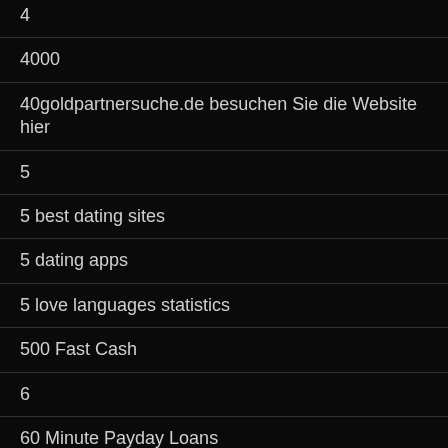4
4000
40goldpartnersuche.de besuchen Sie die Website hier
5
5 best dating sites
5 dating apps
5 love languages statistics
500 Fast Cash
6
60 Minute Payday Loans
7
750Mg Cbd Gummies
8